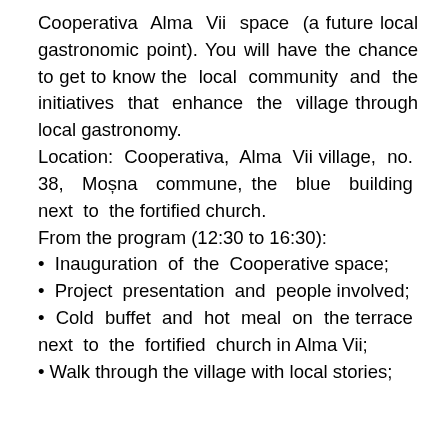Cooperativa Alma Vii space (a future local gastronomic point). You will have the chance to get to know the local community and the initiatives that enhance the village through local gastronomy.
Location: Cooperativa, Alma Vii village, no. 38, Moșna commune, the blue building next to the fortified church.
From the program (12:30 to 16:30):
• Inauguration of the Cooperative space;
• Project presentation and people involved;
• Cold buffet and hot meal on the terrace next to the fortified church in Alma Vii;
• Walk through the village with local stories;